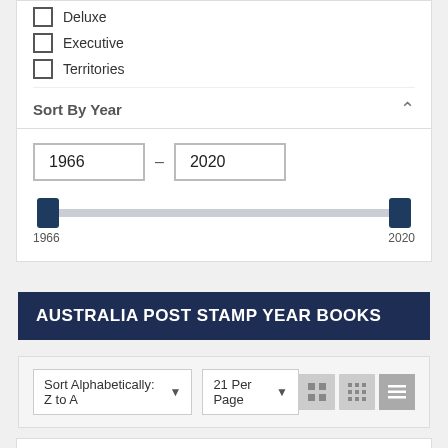Deluxe
Executive
Territories
Sort By Year
1966 – 2020
[Figure (other): Range slider from 1966 to 2020 with handles at both ends]
AUSTRALIA POST STAMP YEAR BOOKS
Sort Alphabetically: Z to A   21 Per Page
[Figure (other): Product listing panel (partial, bottom of page)]